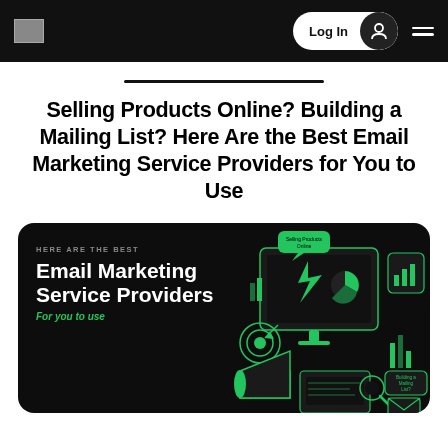Log In [navigation bar with logo and hamburger menu]
Selling Products Online? Building a Mailing List? Here Are the Best Email Marketing Service Providers for You to Use
[Figure (illustration): Dark rounded banner with neon green isometric illustration of email marketing icons: monitor with charts, megaphone, target, clipboard, speech bubbles. Text overlay: 'HERE ARE THE BEST / Email Marketing Service Providers / For you to use']